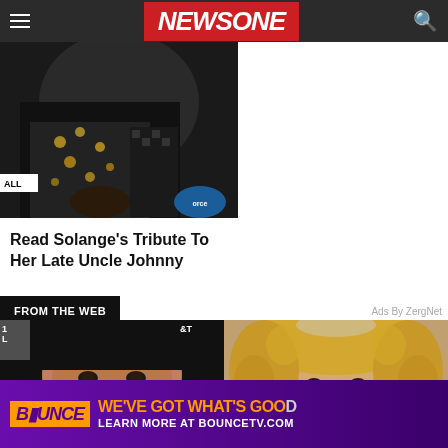NEWSONE
[Figure (photo): Person wearing sequined/metallic jacket and black outfit at an event, partial torso view with ALL badge visible]
Read Solange's Tribute To Her Late Uncle Johnny
FROM THE WEB
Ads By ZergNet
[Figure (photo): Close-up headshot of a woman with dark hair and makeup]
[Figure (photo): Close-up headshot of a woman with blonde curly hair smiling]
[Figure (photo): BOUNCE TV advertisement banner: BOUNCE logo, WE'VE GOT WHAT'S GOOD, LEARN MORE AT BOUNCETV.COM]